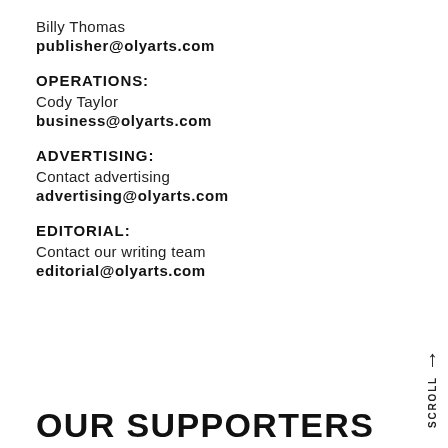Billy Thomas
publisher@olyarts.com
OPERATIONS:
Cody Taylor
business@olyarts.com
ADVERTISING:
Contact advertising
advertising@olyarts.com
EDITORIAL:
Contact our writing team
editorial@olyarts.com
OUR SUPPORTERS